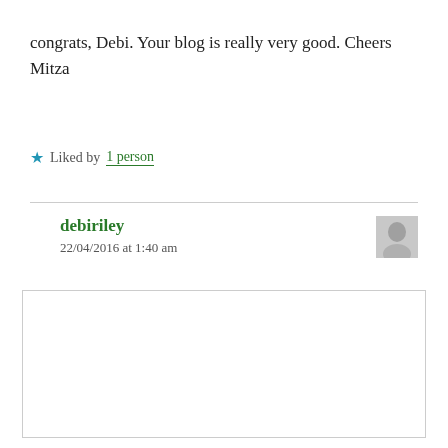congrats, Debi. Your blog is really very good. Cheers Mitza
★ Liked by 1 person
debiriley
22/04/2016 at 1:40 am
Privacy & Cookies: This site uses cookies. By continuing to use this website, you agree to their use.
To find out more, including how to control cookies, see here: Cookie Policy
Close and accept